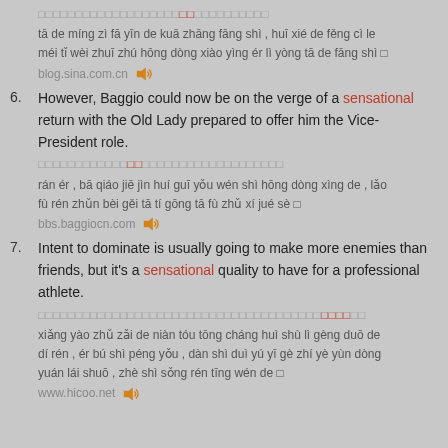[Chinese characters] tā de míng zì fā yīn de kuā zhāng fāng shì , huī xié de fěng cì le méi tǐ wèi zhuī zhú hōng dòng xiào yìng ér lì yòng tā de fāng shì 。 blog.sina.com.cn
6. However, Baggio could now be on the verge of a sensational return with the Old Lady prepared to offer him the Vice-President role.
[Chinese characters] rán ér , bā qiáo jiē jìn huí guī yǒu wén shì hōng dòng xìng de , lǎo fù rén zhǔn bèi gěi tā tí gōng tā fù zhǔ xí jué sè 。 bbs.baggiocn.com
7. Intent to dominate is usually going to make more enemies than friends, but it's a sensational quality to have for a professional athlete.
[Chinese characters] xiǎng yào zhǔ zǎi de niàn tóu tōng cháng huì shù lì gèng duō de dí rén , ér bú shì péng yǒu , dàn shì duì yú yī gè zhí yè yùn dòng yuán lái shuō , zhè shì sǒng rén tīng wén de 。 www.hicoo.net